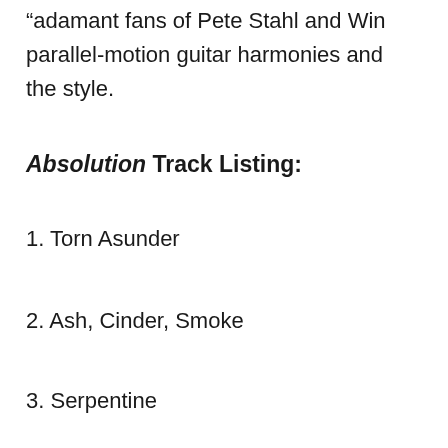“adamant fans of Pete Stahl and Wind… parallel-motion guitar harmonies and… the style.
Absolution Track Listing:
1. Torn Asunder
2. Ash, Cinder, Smoke
3. Serpentine